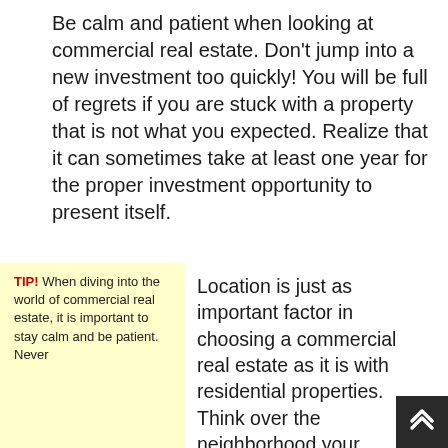Be calm and patient when looking at commercial real estate. Don't jump into a new investment too quickly! You will be full of regrets if you are stuck with a property that is not what you expected. Realize that it can sometimes take at least one year for the proper investment opportunity to present itself.
TIP! When diving into the world of commercial real estate, it is important to stay calm and be patient. Never
Location is just as important factor in choosing a commercial real estate as it is with residential properties. Think over the neighborhood your property is located... Read the rest